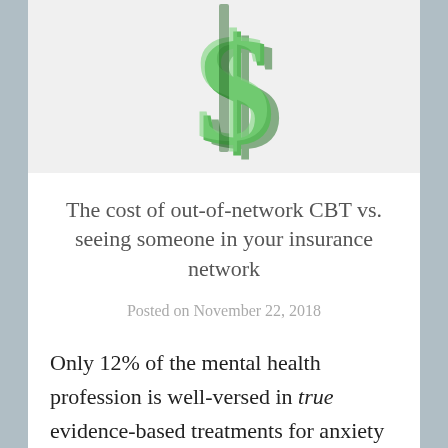[Figure (illustration): 3D green dollar sign on a light gray background]
The cost of out-of-network CBT vs. seeing someone in your insurance network
Posted on November 22, 2018
Only 12% of the mental health profession is well-versed in true evidence-based treatments for anxiety